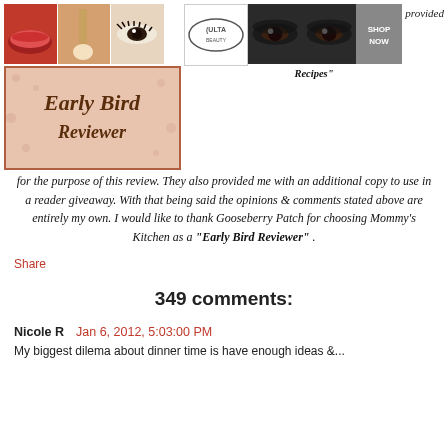[Figure (photo): Collage of makeup images (lips, brush, eye) alongside Ulta logo, eyes photo, and Shop Now button]
[Figure (logo): Early Bird Reviewer logo badge]
Recipes" for the purpose of this review. They also provided me with an additional copy to use in a reader giveaway. With that being said the opinions & comments stated above are entirely my own. I would like to thank Gooseberry Patch for choosing Mommy's Kitchen as a "Early Bird Reviewer" .
Share
349 comments:
Nicole R  Jan 6, 2012, 5:03:00 PM
My biggest dilema about dinner time is have enough ideas &...